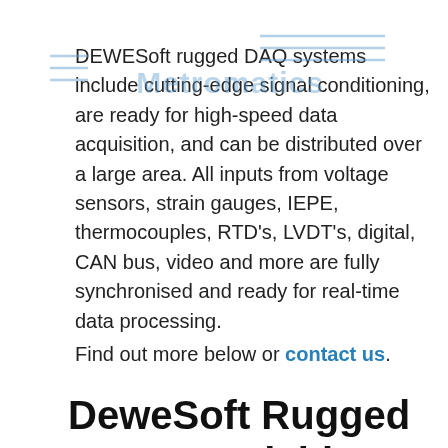DEWESoft rugged DAQ systems include cutting-edge signal conditioning, are ready for high-speed data acquisition, and can be distributed over a large area. All inputs from voltage sensors, strain gauges, IEPE, thermocouples, RTD's, LVDT's, digital, CAN bus, video and more are fully synchronised and ready for real-time data processing.
Finally, with the power of included award-winning Dewesoft X3 Professional software.  You will take your test and measurement experience to another level. All software upgrades are free forever with no hidden costs.
Find out more below or contact us.
DeweSoft Rugged Data Acquisition Systems Models